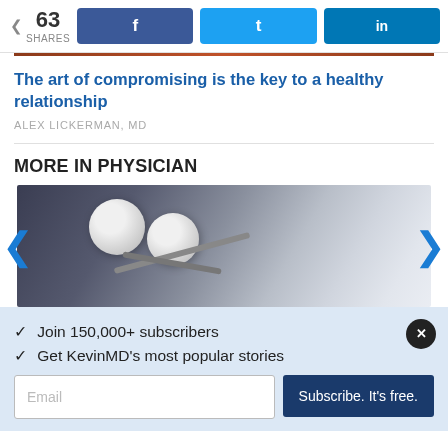63 SHARES
The art of compromising is the key to a healthy relationship
ALEX LICKERMAN, MD
MORE IN PHYSICIAN
[Figure (photo): Close-up photo of a stethoscope on a blue-grey background]
✓  Join 150,000+ subscribers
✓  Get KevinMD's most popular stories
Email  |  Subscribe. It's free.